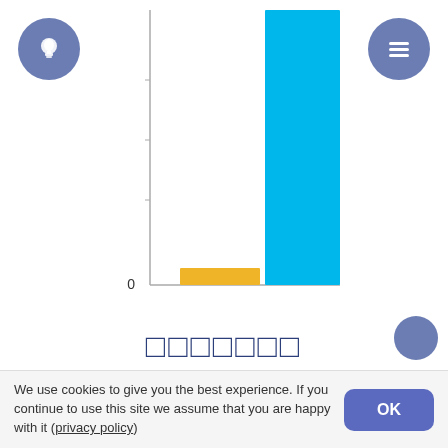[Figure (bar-chart): Color comparison bar chart]
□□□□□□□
| □□□: | 2939 |
| □□□: | 00000000, 00001011, 01111011 |
| □□□□: | #000b7b |
| LRV: | ≈ 1.7% |
We use cookies to give you the best experience. If you continue to use this site we assume that you are happy with it (privacy policy)